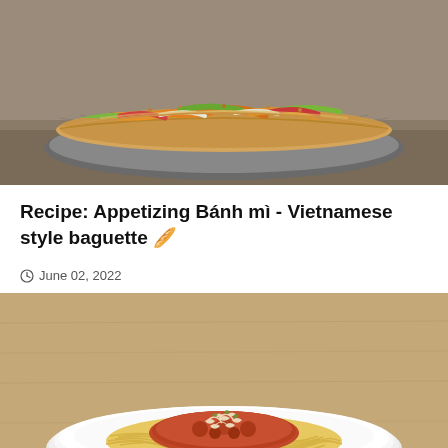[Figure (photo): Photo of a Bánh mì Vietnamese style baguette sandwich with colorful vegetables including carrots, radishes, cucumbers, and greens on a decorative plate]
Recipe: Appetizing Bánh mì - Vietnamese style baguette 🥖
🕐 June 02, 2022
[Figure (photo): Photo of a plate of spaghetti bolognese with tomato meat sauce and grated parmesan cheese on top, served on a white plate on a wooden table]